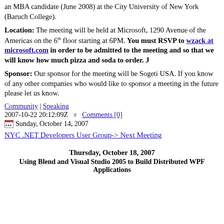an MBA candidate (June 2008) at the City University of New York (Baruch College).
Location: The meeting will be held at Microsoft, 1290 Avenue of the Americas on the 6th floor starting at 6PM. You must RSVP to wzack at microsoft.com in order to be admitted to the meeting and so that we will know how much pizza and soda to order. J
Sponsor: Our sponsor for the meeting will be Sogeti USA. If you know of any other companies who would like to sponsor a meeting in the future please let us know.
Community | Speaking
2007-10-22 20:12:09Z  #  Comments [0]
Sunday, October 14, 2007
NYC .NET Developers User Group-> Next Meeting
Thursday, October 18, 2007
Using Blend and Visual Studio 2005 to Build Distributed WPF Applications